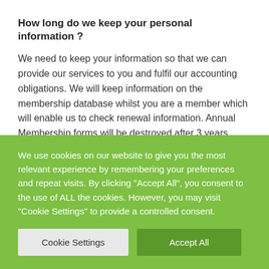How long do we keep your personal information ?
We need to keep your information so that we can provide our services to you and fulfil our accounting obligations. We will keep information on the membership database whilst you are a member which will enable us to check renewal information. Annual Membership forms will be destroyed after 3 years.
How your information can be updated or corrected
To ensure the information we hold is accurate and up to date,
We use cookies on our website to give you the most relevant experience by remembering your preferences and repeat visits. By clicking "Accept All", you consent to the use of ALL the cookies. However, you may visit "Cookie Settings" to provide a controlled consent.
Cookie Settings | Accept All